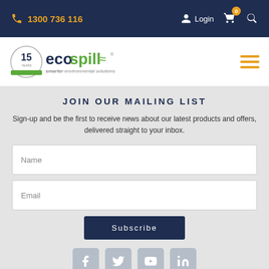1300 736 116   Login   Cart(0)   Search
[Figure (logo): Ecospill logo with 15 year badge and tagline 'smarter environmental solutions']
JOIN OUR MAILING LIST
Sign-up and be the first to receive news about our latest products and offers, delivered straight to your inbox.
Name
Email
Subscribe
[Figure (infographic): Social media icons: Facebook, Twitter, YouTube, LinkedIn]
PAYMENT OPTIONS